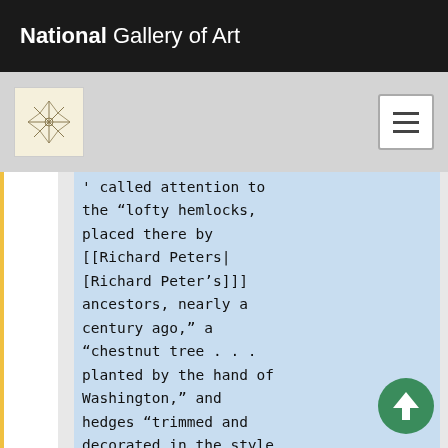National Gallery of Art
called attention to the “lofty hemlocks, placed there by [[Richard Peters|[Richard Peter’s]]] ancestors, nearly a century ago,” a “chestnut tree . . . planted by the hand of Washington,” and hedges “trimmed and decorated in the style of the seventeenth century” ([[#Breck|view text]]). <span id="Downing cite">